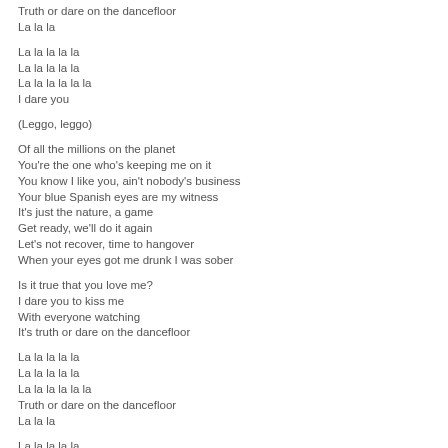Truth or dare on the dancefloor
La la la
La la la la la
La la la la la
La la la la la la
I dare you
(Leggo, leggo)
Of all the millions on the planet
You're the one who's keeping me on it
You know I like you, ain't nobody's business
Your blue Spanish eyes are my witness
It's just the nature, a game
Get ready, we'll do it again
Let's not recover, time to hangover
When your eyes got me drunk I was sober
Is it true that you love me?
I dare you to kiss me
With everyone watching
It's truth or dare on the dancefloor
La la la la la
La la la la la
La la la la la la
Truth or dare on the dancefloor
La la la
La la la la la
La la la la la
La la la la la la